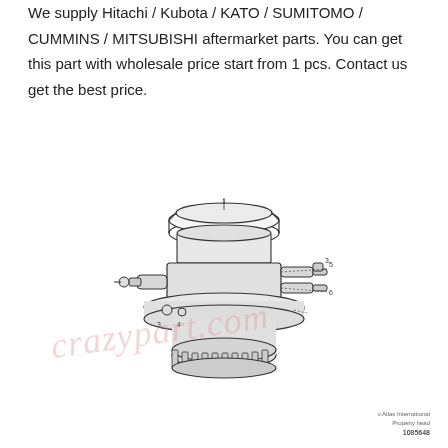We supply Hitachi / Kubota / KATO / SUMITOMO / CUMMINS / MITSUBISHI aftermarket parts. You can get this part with wholesale price start from 1 pcs. Contact us get the best price.
[Figure (engineering-diagram): Exploded/assembly engineering diagram of a hydraulic swing motor or travel motor unit for heavy equipment, showing numbered parts (1–5) including main motor body, bolts, fittings, and cylindrical components. Watermark 'crazypart.com' overlaid in pink italic text.]
1085648